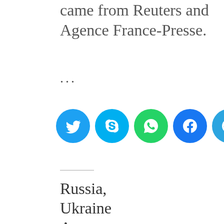came from Reuters and Agence France-Presse.
...
[Figure (infographic): Five social media share buttons in colored circles: Twitter (light blue), Skype (blue), WhatsApp (green), Facebook (dark blue), Telegram (teal)]
Russia, Ukraine Accuse Each Other of Prison Attacks That